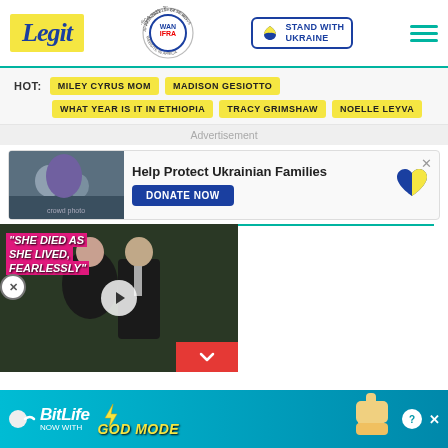Legit | WAN IFRA 2021 Best News Website in Africa | Stand With Ukraine
HOT: MILEY CYRUS MOM   MADISON GESIOTTO   WHAT YEAR IS IT IN ETHIOPIA   TRACY GRIMSHAW   NOELLE LEYVA
Advertisement
[Figure (photo): Ad banner: Help Protect Ukrainian Families - DONATE NOW with heart icon and crowd photo]
[Figure (screenshot): Video player showing a celebrity couple with text 'SHE DIED AS SHE LIVED, FEARLESSLY' on pink background, play button overlay, red minimize button with chevron]
[Figure (photo): BitLife ad: NOW WITH GOD MODE, on blue/teal background with lightning bolt, help and close buttons]